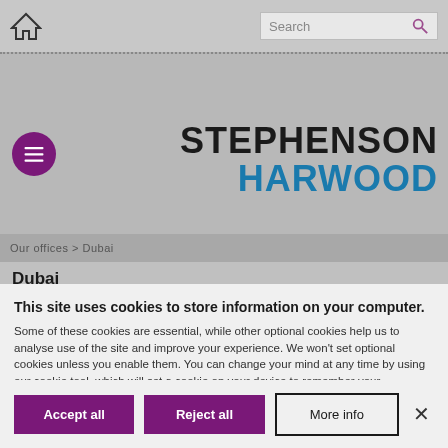[Figure (screenshot): Stephenson Harwood law firm website screenshot showing navigation bar with home icon, search box, hamburger menu button, firm logo, breadcrumb, and Dubai page heading]
This site uses cookies to store information on your computer. Some of these cookies are essential, while other optional cookies help us to analyse use of the site and improve your experience. We won't set optional cookies unless you enable them. You can change your mind at any time by using our cookie tool, which will set a cookie on your device to remember your preferences.
Accept all
Reject all
More info